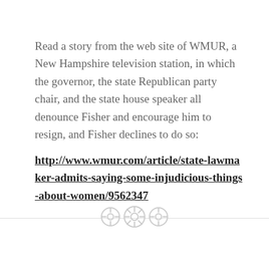Read a story from the web site of WMUR, a New Hampshire television station, in which the governor, the state Republican party chair, and the state house speaker all denounce Fisher and encourage him to resign, and Fisher declines to do so:
http://www.wmur.com/article/state-lawmaker-admits-saying-some-injudicious-things-about-women/9562347